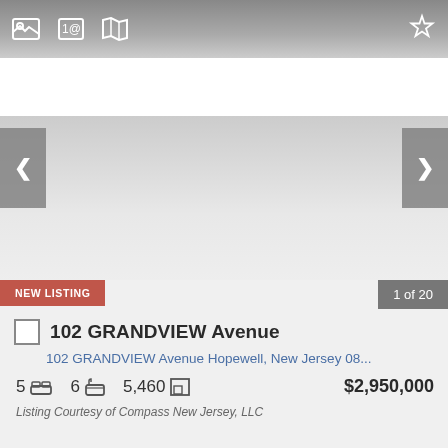[Figure (screenshot): Top navigation bar with photo, contact, map icons on left and star/favorite icon on right, over a gray gradient background]
[Figure (photo): Property photo area with left and right navigation arrows, light gray placeholder]
NEW LISTING
1 of 20
102 GRANDVIEW Avenue
102 GRANDVIEW Avenue Hopewell, New Jersey 08...
5  6  5,460  $2,950,000
Listing Courtesy of Compass New Jersey, LLC